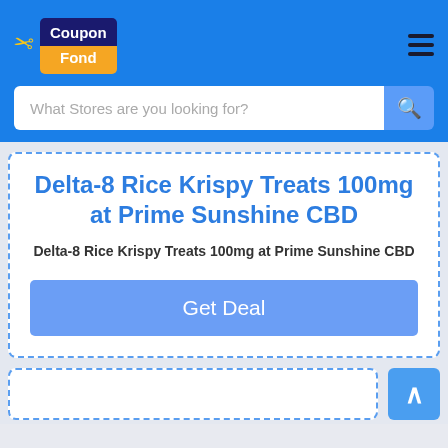[Figure (logo): CouponFond logo with scissors icon, dark blue box with 'Coupon' text and orange box with 'Fond' text]
[Figure (screenshot): Search bar with placeholder text 'What Stores are you looking for?' and a search icon button]
Delta-8 Rice Krispy Treats 100mg at Prime Sunshine CBD
Delta-8 Rice Krispy Treats 100mg at Prime Sunshine CBD
Get Deal